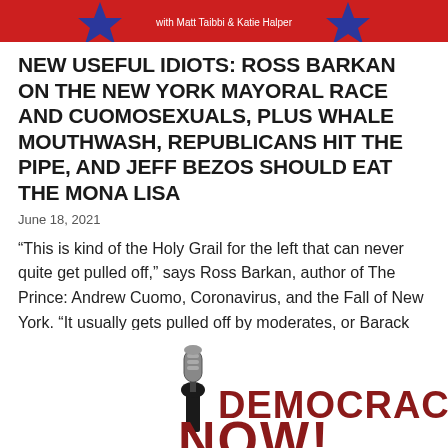[Figure (logo): Red banner with star shapes and text 'with Matt Taibbi & Katie Halper' for Useful Idiots podcast]
NEW USEFUL IDIOTS: ROSS BARKAN ON THE NEW YORK MAYORAL RACE AND CUOMOSEXUALS, PLUS WHALE MOUTHWASH, REPUBLICANS HIT THE PIPE, AND JEFF BEZOS SHOULD EAT THE MONA LISA
June 18, 2021
“This is kind of the Holy Grail for the left that can never quite get pulled off,” says Ross Barkan, author of The Prince: Andrew Cuomo, Coronavirus, and the Fall of New York. “It usually gets pulled off by moderates, or Barack Obama.”
[Figure (logo): Democracy Now logo with microphone silhouette and bold red DEMOCRACY text]